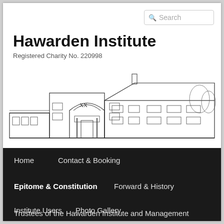Search
Hawarden Institute
Registered Charity No. 220998
[Figure (illustration): Pencil/ink sketch of the Hawarden Institute building facade, a long low-rise structure with a central arched entrance and multiple storefronts.]
Home
Contact & Booking
Epitome & Constitution
Forward & History
Institute Users
Photo Gallery
Trustees of the Hawarden Institute and Management